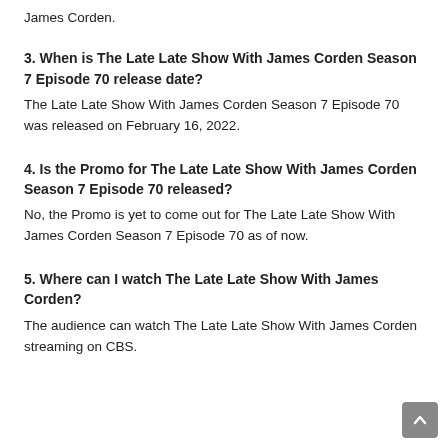James Corden.
3. When is The Late Late Show With James Corden Season 7 Episode 70 release date?
The Late Late Show With James Corden Season 7 Episode 70 was released on February 16, 2022.
4. Is the Promo for The Late Late Show With James Corden Season 7 Episode 70 released?
No, the Promo is yet to come out for The Late Late Show With James Corden Season 7 Episode 70 as of now.
5. Where can I watch The Late Late Show With James Corden?
The audience can watch The Late Late Show With James Corden streaming on CBS.